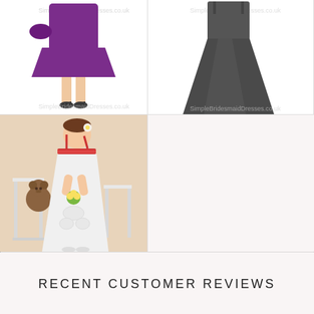[Figure (photo): Purple short bridesmaid dress on a model, showing legs with heels, watermark visible]
[Figure (photo): Dark gray/charcoal long satin bridesmaid dress on a model, full length gown, watermark visible]
[Figure (photo): White flower girl dress with red trim spaghetti straps on a young girl, with teddy bear and flowers in background]
RECENT CUSTOMER REVIEWS